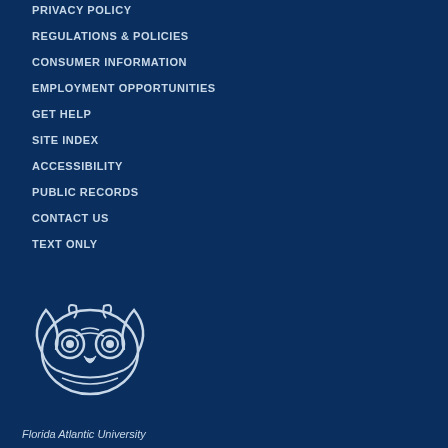PRIVACY POLICY
REGULATIONS & POLICIES
CONSUMER INFORMATION
EMPLOYMENT OPPORTUNITIES
GET HELP
SITE INDEX
ACCESSIBILITY
PUBLIC RECORDS
CONTACT US
TEXT ONLY
[Figure (logo): Florida Atlantic University owl mascot logo in white outline on dark blue background]
Florida Atlantic University